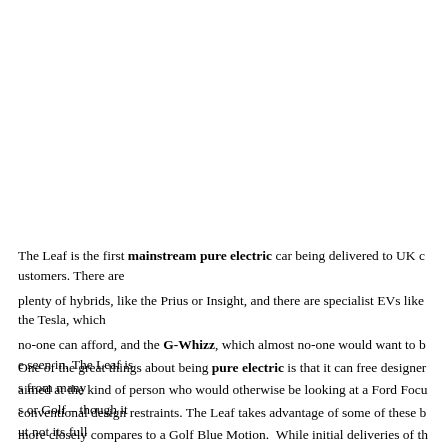The Leaf is the first mainstream pure electric car being delivered to UK c... plenty of hybrids, like the Prius or Insight, and there are specialist EVs like ... no-one can afford, and the G-Whizz, which almost no-one would want to be... aimed at the kind of person who would otherwise be looking at a Ford Focu... more closely compares to a Golf Blue Motion. While initial deliveries of th... made in Japan, the Leaf and its batteries will both be produced in Nissan's U... Sunderland.
One of the great things about being pure electric is that it can free designer... conventional design restraints. The Leaf takes advantage of some of these b... potential. For example, the batteries are down low to give a good, evenly di... gravity, but Nissan has failed to exploit these packaging advantages. Conven... still where you would expect an engine to be, not in the axles or hubs, whic...